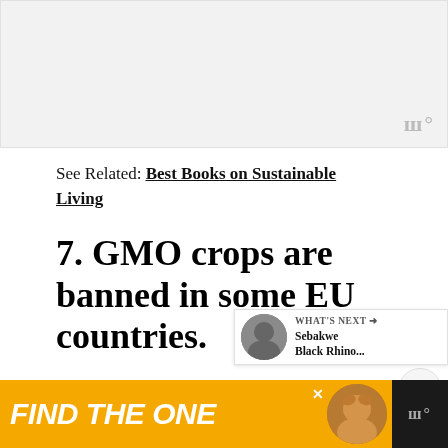[Figure (other): Gray advertisement banner placeholder at top of page with watermark icon in bottom right corner]
See Related: Best Books on Sustainable Living
7. GMO crops are banned in some EU countries.
There's still a lot of worldwide debate about genetically engineered crops, how safe and whether they should become more wi...
[Figure (other): FIND THE ONE advertisement banner at bottom of page with yellow background, white bold italic text, dog photo, and dark sidebar with watermark]
[Figure (other): WHAT'S NEXT panel with thumbnail showing Sebakwe Black Rhino...]